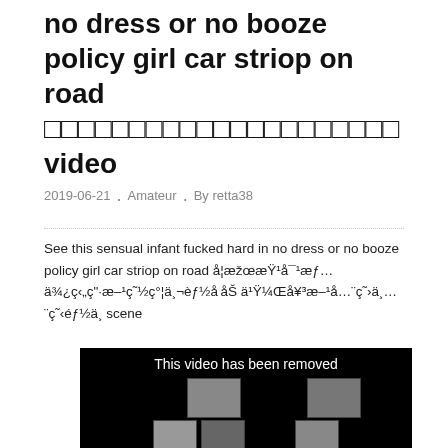no dress or no booze policy girl car striop on road 　　　　　　　　　　　　　　　　　　　　　 video
2019-06-21 . Amateur . By retta38
See this sensual infant fucked hard in no dress or no booze policy girl car striop on road å¦æžœæŸ¹å¯¹æƒ…ä¾¿ç‹„ç".æ–¹ç˜½ç°¦ä¸¬èƒ½åå¸ŠS ä¹Ÿ¼Œå¥³æ–¹å…¨ç˜‹éƒ½ä¸ scene
[Figure (screenshot): Black video player showing 'This video has been removed' text with thumbnail images of video content below]